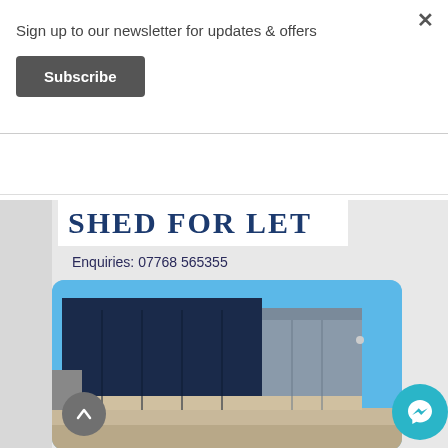Sign up to our newsletter for updates & offers
Subscribe
SHED FOR LET
Enquiries: 07768 565355
[Figure (photo): Photo of a large industrial steel shed/warehouse with dark cladding under a blue sky]